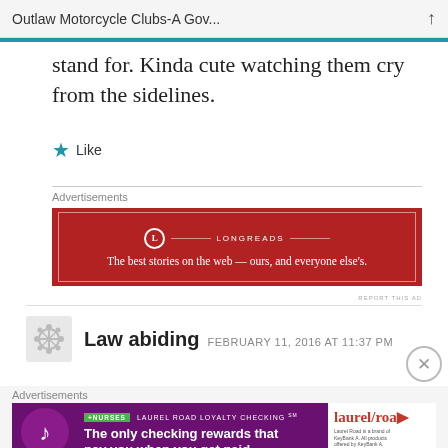Outlaw Motorcycle Clubs-A Gov...
stand for. Kinda cute watching them cry from the sidelines.
[Figure (screenshot): Like button with blue star icon]
[Figure (screenshot): Longreads advertisement: red background with white border, logo and text 'The best stories on the web — ours, and everyone else's.']
Law abiding   FEBRUARY 11, 2016 AT 11:37 PM
[Figure (screenshot): Laurel Road Loyalty Checking advertisement: 'The only checking rewards that pay you when you get paid.']